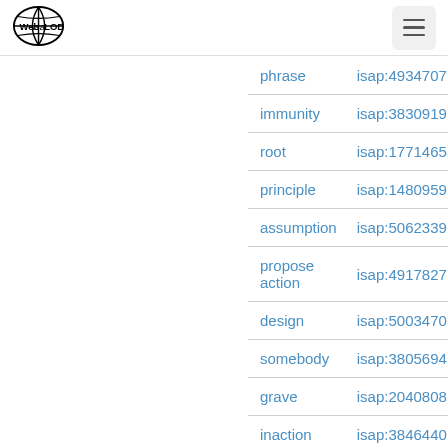Web isa LOD
| term | isap id |
| --- | --- |
| phrase | isap:4934707 |
| immunity | isap:3830919 |
| root | isap:1771465 |
| principle | isap:1480959 |
| assumption | isap:5062339 |
| propose action | isap:4917827 |
| design | isap:5003470 |
| somebody | isap:3805694 |
| grave | isap:2040808 |
| inaction | isap:3846440 |
| fix | isap:2476803 |